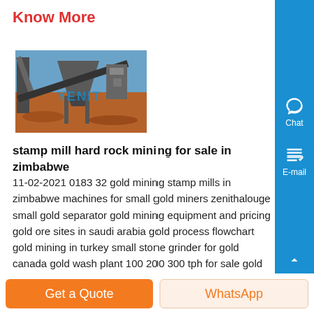Know More
[Figure (photo): Industrial mining stamp mill equipment outdoors with metal structures and conveyor, watermarked YENIT]
stamp mill hard rock mining for sale in zimbabwe
11-02-2021 0183 32 gold mining stamp mills in zimbabwe machines for small gold miners zenithalouge small gold separator gold mining equipment and pricing gold ore sites in saudi arabia gold process flowchart gold mining in turkey small stone grinder for gold canada gold wash plant 100 200 300 tph for sale gold machinery gold mine vibrating screen build your own gold